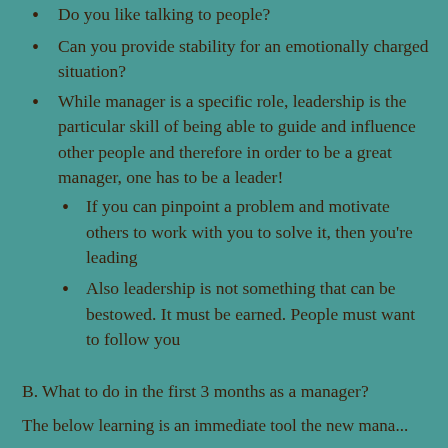Do you like talking to people?
Can you provide stability for an emotionally charged situation?
While manager is a specific role, leadership is the particular skill of being able to guide and influence other people and therefore in order to be a great manager, one has to be a leader!
If you can pinpoint a problem and motivate others to work with you to solve it, then you're leading
Also leadership is not something that can be bestowed. It must be earned. People must want to follow you
B. What to do in the first 3 months as a manager?
The below learning is an immediate tool the new mana...